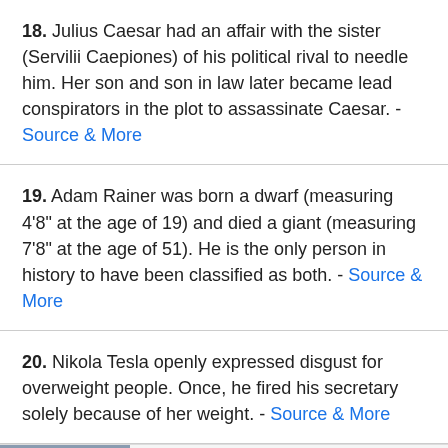18. Julius Caesar had an affair with the sister (Servilii Caepiones) of his political rival to needle him. Her son and son in law later became lead conspirators in the plot to assassinate Caesar. - Source & More
19. Adam Rainer was born a dwarf (measuring 4'8" at the age of 19) and died a giant (measuring 7'8" at the age of 51). He is the only person in history to have been classified as both. - Source & More
20. Nikola Tesla openly expressed disgust for overweight people. Once, he fired his secretary solely because of her weight. - Source & More
[Figure (other): Advertisement banner: adpushup label with image of person at laptop, ad for charlestown by erickson senior living Public... from jobble.com, with Sponsored tag and media control icons]